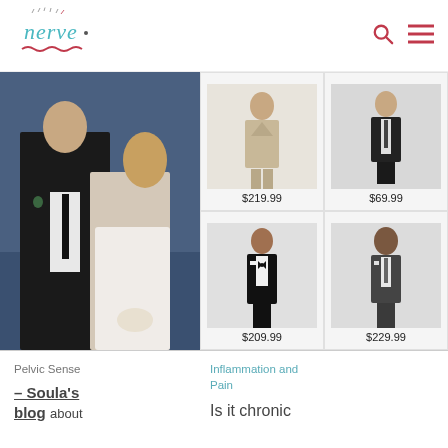[Figure (logo): Nerve blog logo - handwritten style text 'nerve' in teal/blue with decorative elements]
[Figure (photo): Wedding couple - man in black tuxedo and woman in white dress standing outdoors near water]
[Figure (photo): Man in beige/tan suit, product photo, price $219.99]
[Figure (photo): Man in black suit/pants, product photo, price $69.99]
[Figure (photo): Man in black tuxedo with bow tie, product photo, price $209.99]
[Figure (photo): Man in dark charcoal suit, product photo, price $229.99]
Pelvic Sense
Inflammation and Pain
– Soula's blog about
Is it chronic